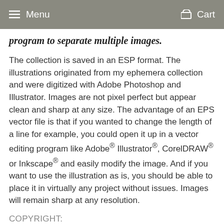Menu    Cart
program to separate multiple images.
The collection is saved in an ESP format. The illustrations originated from my ephemera collection and were digitized with Adobe Photoshop and Illustrator. Images are not pixel perfect but appear clean and sharp at any size. The advantage of an EPS vector file is that if you wanted to change the length of a line for example, you could open it up in a vector editing program like Adobe® Illustrator®, CorelDRAW® or Inkscape® and easily modify the image. And if you want to use the illustration as is, you should be able to place it in virtually any project without issues. Images will remain sharp at any resolution.
COPYRIGHT:
Unless otherwise noted We make no warranties or guarantees regarding copyright or ownership of individual